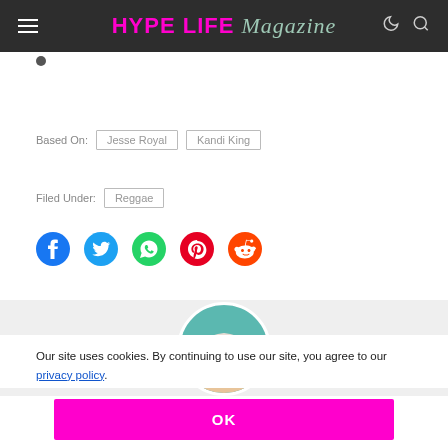HYPE LIFE Magazine
Based On: Jesse Royal  Kandi King
Filed Under: Reggae
[Figure (infographic): Social sharing icons row: Facebook (blue circle), Twitter (light blue bird), WhatsApp (green circle), Pinterest (red circle), Reddit (orange alien)]
[Figure (photo): Circular author avatar photo of a person wearing a white Nike cap, set against a teal and light background]
Our site uses cookies. By continuing to use our site, you agree to our privacy policy.
OK